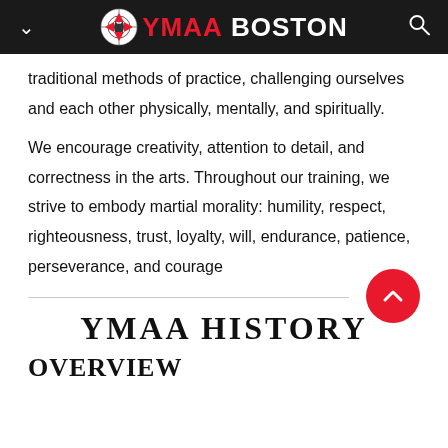YMAA BOSTON
traditional methods of practice, challenging ourselves and each other physically, mentally, and spiritually.
We encourage creativity, attention to detail, and correctness in the arts. Throughout our training, we strive to embody martial morality: humility, respect, righteousness, trust, loyalty, will, endurance, patience, perseverance, and courage
YMAA HISTORY
OVERVIEW